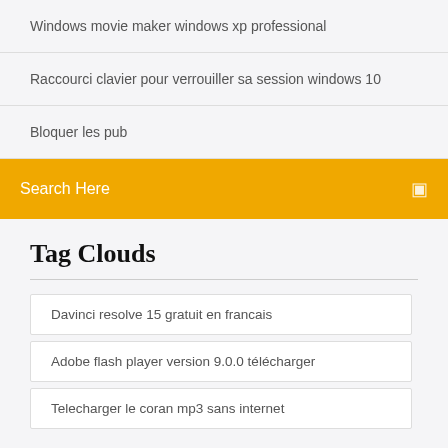Windows movie maker windows xp professional
Raccourci clavier pour verrouiller sa session windows 10
Bloquer les pub
Search Here
Tag Clouds
Davinci resolve 15 gratuit en francais
Adobe flash player version 9.0.0 télécharger
Telecharger le coran mp3 sans internet